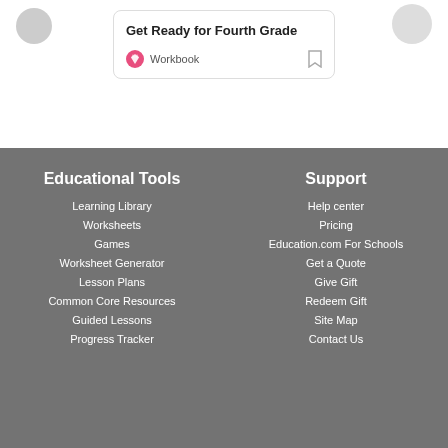Get Ready for Fourth Grade
Workbook
Educational Tools
Learning Library
Worksheets
Games
Worksheet Generator
Lesson Plans
Common Core Resources
Guided Lessons
Progress Tracker
Support
Help center
Pricing
Education.com For Schools
Get a Quote
Give Gift
Redeem Gift
Site Map
Contact Us